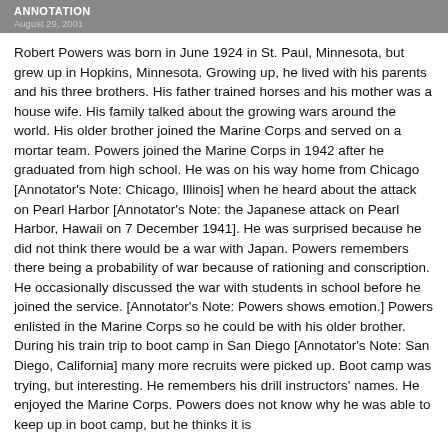ANNOTATION
August 29, 2001
Robert Powers was born in June 1924 in St. Paul, Minnesota, but grew up in Hopkins, Minnesota. Growing up, he lived with his parents and his three brothers. His father trained horses and his mother was a house wife. His family talked about the growing wars around the world. His older brother joined the Marine Corps and served on a mortar team. Powers joined the Marine Corps in 1942 after he graduated from high school. He was on his way home from Chicago [Annotator's Note: Chicago, Illinois] when he heard about the attack on Pearl Harbor [Annotator's Note: the Japanese attack on Pearl Harbor, Hawaii on 7 December 1941]. He was surprised because he did not think there would be a war with Japan. Powers remembers there being a probability of war because of rationing and conscription. He occasionally discussed the war with students in school before he joined the service. [Annotator's Note: Powers shows emotion.] Powers enlisted in the Marine Corps so he could be with his older brother. During his train trip to boot camp in San Diego [Annotator's Note: San Diego, California] many more recruits were picked up. Boot camp was trying, but interesting. He remembers his drill instructors' names. He enjoyed the Marine Corps. Powers does not know why he was able to keep up in boot camp, but he thinks it is